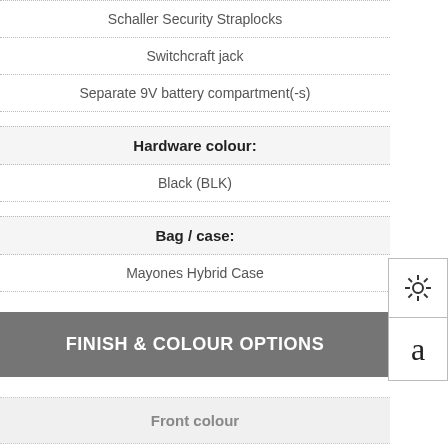Schaller Security Straplocks
Switchcraft jack
Separate 9V battery compartment(-s)
Hardware colour:
Black (BLK)
Bag / case:
Mayones Hybrid Case
FINISH & COLOUR OPTIONS
Front colour